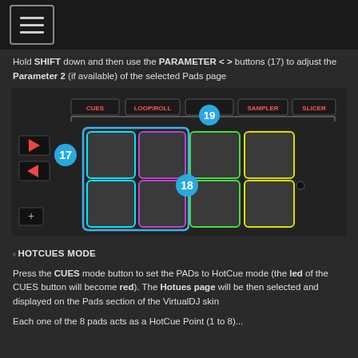≡
Hold SHIFT down and then use the PARAMETER < > buttons (17) to adjust the Parameter 2 (if available) of the selected Pads page
[Figure (screenshot): DJ controller pad interface showing CUES, LOOP/ROLL, SAMPLER, SLICER mode buttons at top labeled 19, navigation arrows labeled 17, and 8 illuminated pads in a 2x4 grid with colored borders (cyan, purple, green, yellow) labeled 18]
HOTCUES MODE
Press the CUES mode button to set the PADs to HotCue mode (the led of the CUES button will become red). The Hotues page will be then selected and displayed on the Pads section of the VirtualDJ skin
Each one of the 8 pads acts as a HotCue Point (1 to 8)...